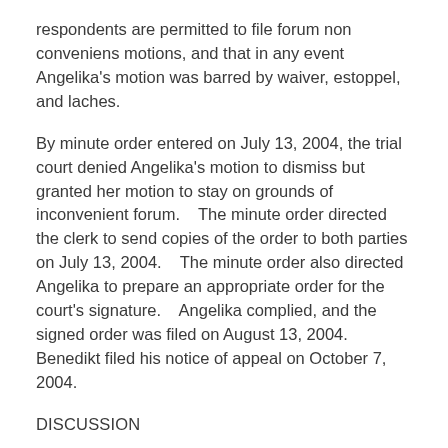respondents are permitted to file forum non conveniens motions, and that in any event Angelika's motion was barred by waiver, estoppel, and laches.
By minute order entered on July 13, 2004, the trial court denied Angelika's motion to dismiss but granted her motion to stay on grounds of inconvenient forum.    The minute order directed the clerk to send copies of the order to both parties on July 13, 2004.    The minute order also directed Angelika to prepare an appropriate order for the court's signature.    Angelika complied, and the signed order was filed on August 13, 2004.    Benedikt filed his notice of appeal on October 7, 2004.
DISCUSSION
1.    The Notice of Appeal Was Timely Filed
Angelika argues that Benedikt did not timely file his notice